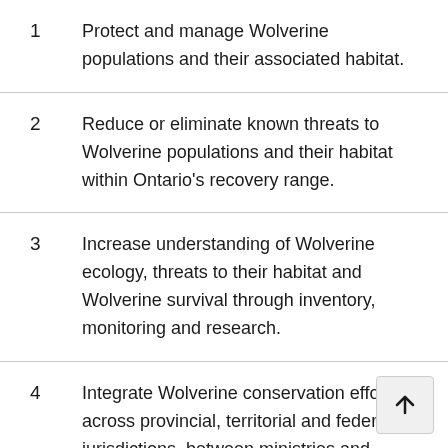1  Protect and manage Wolverine populations and their associated habitat.
2  Reduce or eliminate known threats to Wolverine populations and their habitat within Ontario's recovery range.
3  Increase understanding of Wolverine ecology, threats to their habitat and Wolverine survival through inventory, monitoring and research.
4  Integrate Wolverine conservation efforts across provincial, territorial and federal jurisdictions, between ministries and